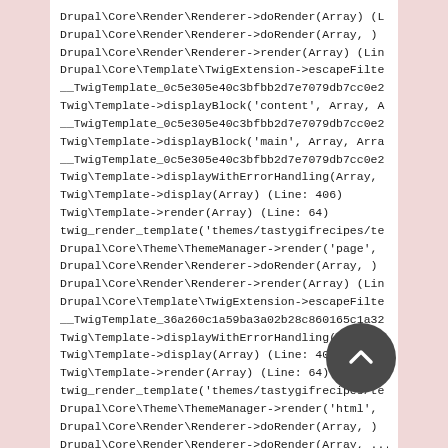Drupal\Core\Render\Renderer->doRender(Array) (L
Drupal\Core\Render\Renderer->doRender(Array, )
Drupal\Core\Render\Renderer->render(Array) (Lin
Drupal\Core\Template\TwigExtension->escapeFilte
__TwigTemplate_0c5e305e40c3bfbb2d7e7079db7cc0e2
Twig\Template->displayBlock('content', Array, A
__TwigTemplate_0c5e305e40c3bfbb2d7e7079db7cc0e2
Twig\Template->displayBlock('main', Array, Arra
__TwigTemplate_0c5e305e40c3bfbb2d7e7079db7cc0e2
Twig\Template->displayWithErrorHandling(Array,
Twig\Template->display(Array) (Line: 406)
Twig\Template->render(Array) (Line: 64)
twig_render_template('themes/tastygifrecipes/te
Drupal\Core\Theme\ThemeManager->render('page',
Drupal\Core\Render\Renderer->doRender(Array, )
Drupal\Core\Render\Renderer->render(Array) (Lin
Drupal\Core\Template\TwigExtension->escapeFilte
__TwigTemplate_36a260c1a59ba3a02b28c860165c1a32
Twig\Template->displayWithErrorHandling(Array,
Twig\Template->display(Array) (Line: 406)
Twig\Template->render(Array) (Line: 64)
twig_render_template('themes/tastygifrecipes/te
Drupal\Core\Theme\ThemeManager->render('html',
Drupal\Core\Render\Renderer->doRender(Array, )
Drupal\Core\Render\Renderer->doRender(Array, ...